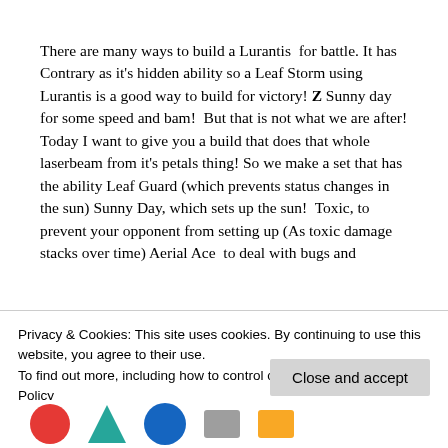There are many ways to build a Lurantis  for battle. It has Contrary as it's hidden ability so a Leaf Storm using Lurantis is a good way to build for victory! Z Sunny day for some speed and bam!  But that is not what we are after! Today I want to give you a build that does that whole laserbeam from it's petals thing! So we make a set that has the ability Leaf Guard (which prevents status changes in the sun) Sunny Day, which sets up the sun!  Toxic, to prevent your opponent from setting up (As toxic damage stacks over time) Aerial Ace  to deal with bugs and
Privacy & Cookies: This site uses cookies. By continuing to use this website, you agree to their use.
To find out more, including how to control cookies, see here: Cookie Policy
Close and accept